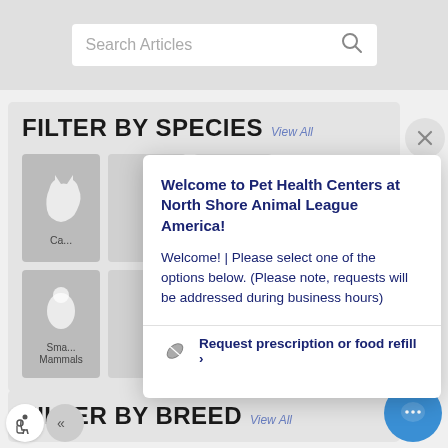[Figure (screenshot): Search Articles input box with magnifying glass icon]
FILTER BY SPECIES View All
[Figure (screenshot): Cat species tile with white cat silhouette icon, labeled 'Ca...']
[Figure (screenshot): Small Mammals species tile with white animal silhouette icon, labeled 'Small Mammals']
[Figure (screenshot): Close button (X) circle on the right side]
Welcome to Pet Health Centers at North Shore Animal League America!
Welcome! | Please select one of the options below. (Please note, requests will be addressed during business hours)
Request prescription or food refill >
FILTER BY BREED View All
[Figure (screenshot): Accessibility icon button and collapse button at bottom left]
[Figure (screenshot): Blue chat bubble circle button at bottom right]